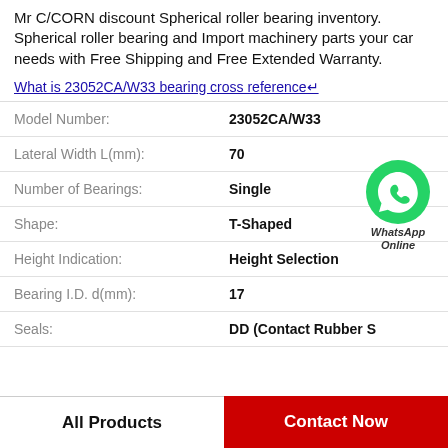Mr C/CORN discount Spherical roller bearing inventory. Spherical roller bearing and Import machinery parts your car needs with Free Shipping and Free Extended Warranty.
What is 23052CA/W33 bearing cross reference↵
| Label | Value |
| --- | --- |
| Model Number: | 23052CA/W33 |
| Lateral Width L(mm): | 70 |
| Number of Bearings: | Single |
| Shape: | T-Shaped |
| Height Indication: | Height Selection |
| Bearing I.D. d(mm): | 17 |
| Seals: | DD (Contact Rubber S |
[Figure (logo): WhatsApp Online green phone icon with text 'WhatsApp Online']
All Products
Contact Now